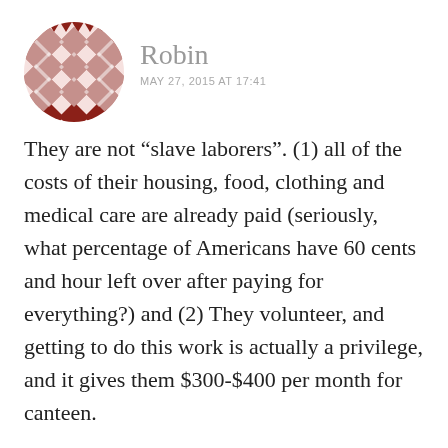[Figure (illustration): Circular avatar image with a geometric quilt/mosaic pattern in dark red/brown and white triangles and diamonds]
Robin
MAY 27, 2015 AT 17:41
They are not “slave laborers”. (1) all of the costs of their housing, food, clothing and medical care are already paid (seriously, what percentage of Americans have 60 cents and hour left over after paying for everything?) and (2) They volunteer, and getting to do this work is actually a privilege, and it gives them $300-$400 per month for canteen.
On the other hand, those who are receiving